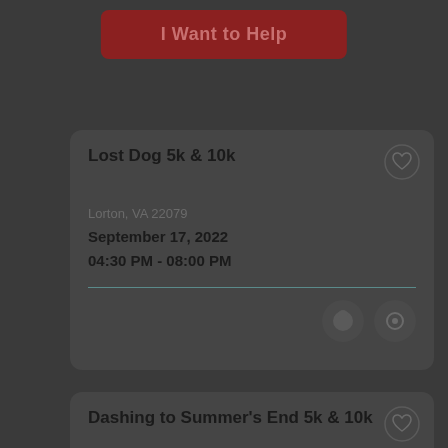I Want to Help
Lost Dog 5k & 10k
Lorton, VA 22079
September 17, 2022
04:30 PM - 08:00 PM
Dashing to Summer's End 5k & 10k
Washington, DC 20011
September 10, 2022
06:45 AM - 10:00 AM